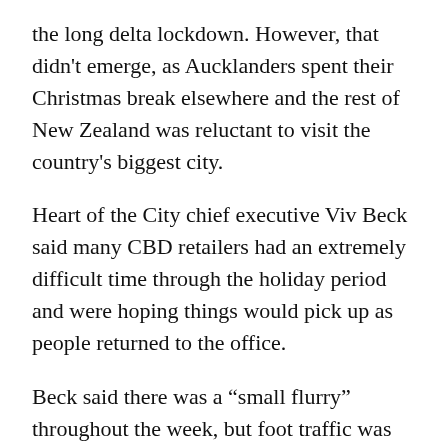the long delta lockdown. However, that didn't emerge, as Aucklanders spent their Christmas break elsewhere and the rest of New Zealand was reluctant to visit the country's biggest city.
Heart of the City chief executive Viv Beck said many CBD retailers had an extremely difficult time through the holiday period and were hoping things would pick up as people returned to the office.
Beck said there was a “small flurry” throughout the week, but foot traffic was still down by 22% to 25% from last year.
“It’s worrying,” she said, “as we’re not back to the levels that some of our businesses need to be to be sustainable.”
Retailers were hit hard by last year’s protracted